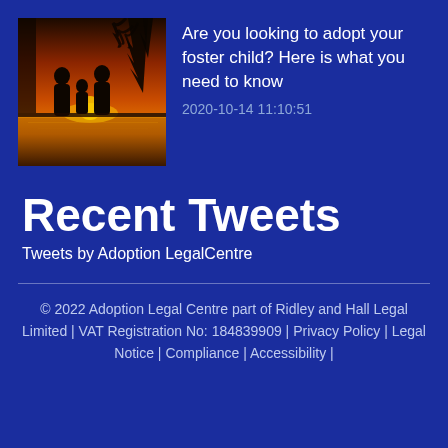[Figure (photo): Silhouette of two adults and a child standing at the edge of water at sunset with warm orange and yellow sky and dark tree branches overhead]
Are you looking to adopt your foster child? Here is what you need to know
2020-10-14 11:10:51
Recent Tweets
Tweets by Adoption LegalCentre
© 2022 Adoption Legal Centre part of Ridley and Hall Legal Limited | VAT Registration No: 184839909 | Privacy Policy | Legal Notice | Compliance | Accessibility |